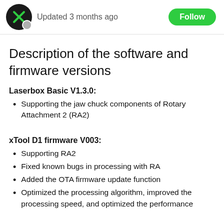Updated 3 months ago
Description of the software and firmware versions
Laserbox Basic V1.3.0:
Supporting the jaw chuck components of Rotary Attachment 2 (RA2)
xTool D1 firmware V003:
Supporting RA2
Fixed known bugs in processing with RA
Added the OTA firmware update function
Optimized the processing algorithm, improved the processing speed, and optimized the performance